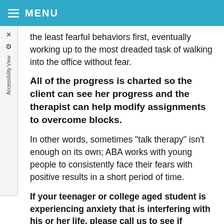MENU
the least fearful behaviors first, eventually working up to the most dreaded task of walking into the office without fear.
All of the progress is charted so the client can see her progress and the therapist can help modify assignments to overcome blocks.
In other words, sometimes "talk therapy" isn't enough on its own; ABA works with young people to consistently face their fears with positive results in a short period of time.
If your teenager or college aged student is experiencing anxiety that is interfering with his or her life, please call us to see if Applied Behavior Analysis will help them get back on track. We have had the rewarding experience of seeing this technique work firsthand with so many of our clients - we know it can help you too!